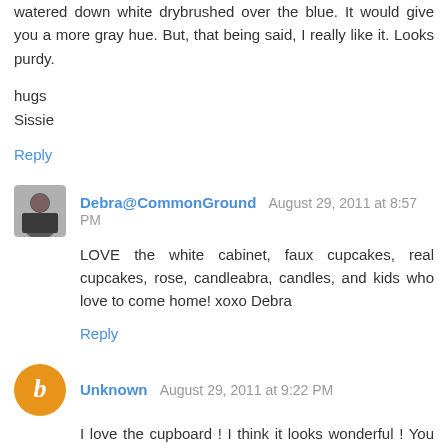watered down white drybrushed over the blue. It would give you a more gray hue. But, that being said, I really like it. Looks purdy.
hugs
Sissie
Reply
Debra@CommonGround August 29, 2011 at 8:57 PM
LOVE the white cabinet, faux cupcakes, real cupcakes, rose, candleabra, candles, and kids who love to come home! xoxo Debra
Reply
Unknown August 29, 2011 at 9:22 PM
I love the cupboard ! I think it looks wonderful ! You will find just the right stuff to put in there with your wine glasses. Maybe a tray with a touch of blue on it.
Reply